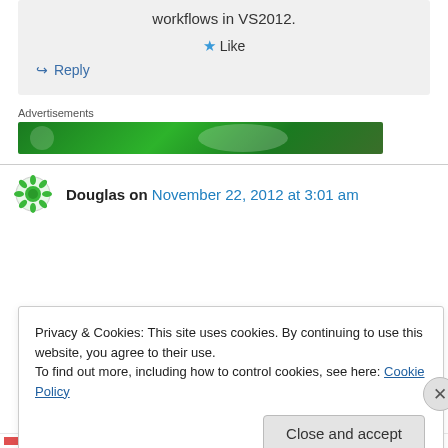workflows in VS2012.
Like
Reply
Advertisements
[Figure (other): Green advertisement banner]
Douglas on November 22, 2012 at 3:01 am
Privacy & Cookies: This site uses cookies. By continuing to use this website, you agree to their use.
To find out more, including how to control cookies, see here: Cookie Policy
Close and accept